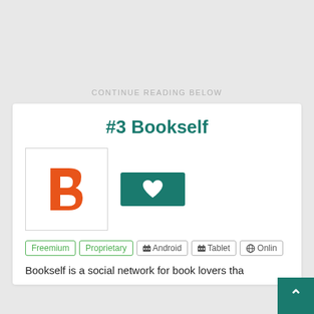CONTINUE READING BELOW
#3 Bookself
[Figure (logo): Bookself app logo — orange letter B on white background]
[Figure (other): Teal heart/favorite button]
Freemium
Proprietary
Android
Tablet
Onlin…
Bookself is a social network for book lovers tha